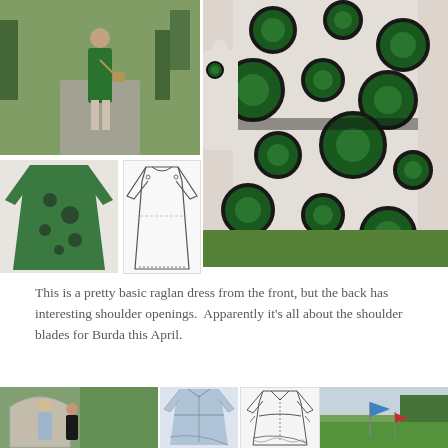[Figure (photo): Full-length photo of a woman walking on a path wearing a green patterned dress, outdoor park setting]
[Figure (photo): Close-up photo of a woman wearing a green and black circle-patterned wrap dress, outdoor grass background]
[Figure (photo): Small product flat-lay photo of the green patterned raglan dress]
[Figure (illustration): Pattern sketch/line drawing of a raglan dress showing front and back view]
This is a pretty basic raglan dress from the front, but the back has interesting shoulder openings.  Apparently it's all about the shoulder blades for Burda this April.
[Figure (photo): Two women standing in front of a round arch doorway, one in a blue striped shirt dress]
[Figure (photo): Product photo of a light blue shirt dress with high-low hem]
[Figure (illustration): Pattern sketch/line drawing of a shirt dress with asymmetric hem and tie]
[Figure (photo): Outdoor golf course scene with blue flag and red flag on green]